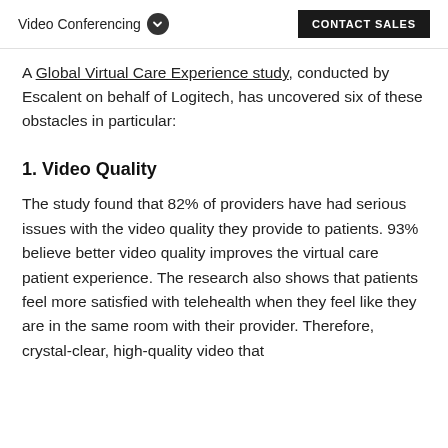Video Conferencing  CONTACT SALES
A Global Virtual Care Experience study, conducted by Escalent on behalf of Logitech, has uncovered six of these obstacles in particular:
1. Video Quality
The study found that 82% of providers have had serious issues with the video quality they provide to patients. 93% believe better video quality improves the virtual care patient experience. The research also shows that patients feel more satisfied with telehealth when they feel like they are in the same room with their provider. Therefore, crystal-clear, high-quality video that